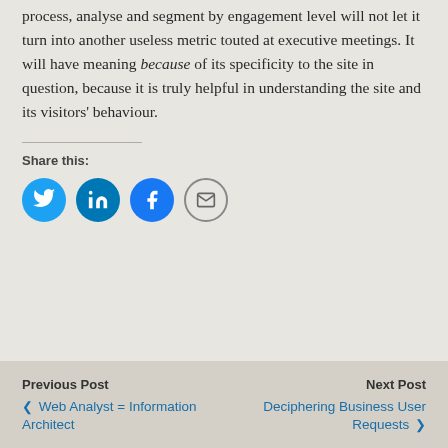process, analyse and segment by engagement level will not let it turn into another useless metric touted at executive meetings. It will have meaning because of its specificity to the site in question, because it is truly helpful in understanding the site and its visitors' behaviour.
Share this:
[Figure (infographic): Social share buttons: Twitter (blue circle), LinkedIn (dark blue circle), Facebook (blue circle), Email (grey outline circle)]
Previous Post ❮ Web Analyst = Information Architect   Next Post Deciphering Business User Requests ❯